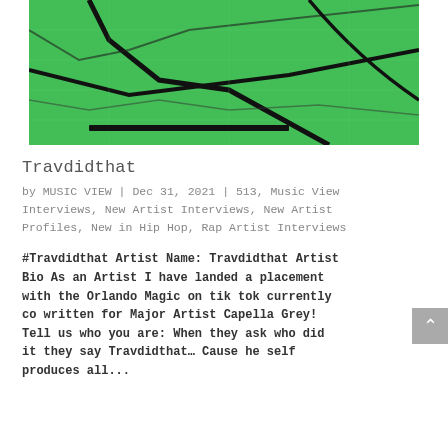[Figure (photo): Green-tinted aerial/map photo with black lines crossing over it, resembling a street map or sheet music viewed from above with a green color overlay.]
Travdidthat
by MUSIC VIEW | Dec 31, 2021 | 513, Music View Interviews, New Artist Interviews, New Artist Profiles, New in Hip Hop, Rap Artist Interviews
#Travdidthat Artist Name: Travdidthat Artist Bio As an Artist I have landed a placement with the Orlando Magic on tik tok currently co written for Major Artist Capella Grey! Tell us who you are: When they ask who did it they say Travdidthat… Cause he self produces all...